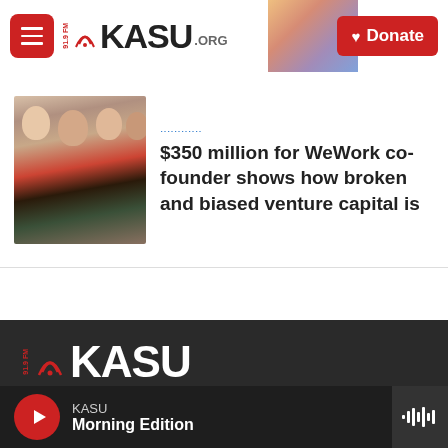[Figure (screenshot): KASU 91.9 FM radio station website header with hamburger menu button, KASU logo, and red Donate button]
[Figure (photo): Photo of women smiling, associated with WeWork co-founder article]
$350 million for WeWork co-founder shows how broken and biased venture capital is
[Figure (logo): KASU 91.9 FM logo in white on dark background footer]
Stay Connected
[Figure (infographic): Social media icons: Twitter, Instagram, YouTube, Facebook]
KASU Morning Edition